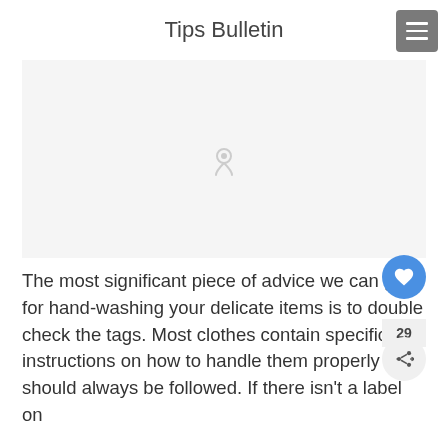Tips Bulletin
[Figure (other): Large light gray placeholder image area with a faint pin/location icon in the center]
The most significant piece of advice we can give for hand-washing your delicate items is to double check the tags. Most clothes contain specific instructions on how to handle them properly and should always be followed. If there isn't a label on